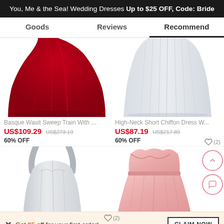You, Me & the Sea! Wedding Dresses Up to $25 OFF, Code: Bride
Goods | Reviews | Recommend
[Figure (photo): Red ballgown sweep train dress lower half, shown in crimson red fabric]
[Figure (photo): High-neck short chiffon grey dress lower half]
Basque Wasit Sweep Train With ...
High-Neck Short Chiffon Dress W...
US$109.29  US$273.19  60% OFF
US$87.19  US$217.89  60% OFF
[Figure (photo): White halter-neck bodice dress top portion]
[Figure (photo): Pink blush strapless pleated short dress]
Get $5 off for your first order!
CLAIM NOW
ADD TO BAG